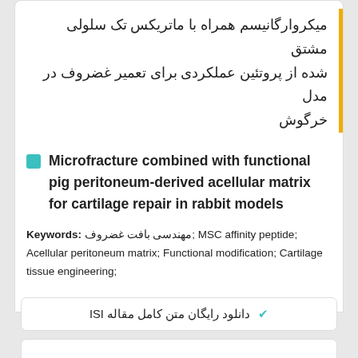میکروارگانیسم همراه با ماتریکس تک سلولی مشتق شده از پروتئین عملکردی برای تعمیر غضروف در مدل خرگوش
Microfracture combined with functional pig peritoneum-derived acellular matrix for cartilage repair in rabbit models
Keywords: مهندسی بافت غضروف; MSC affinity peptide; Acellular peritoneum matrix; Functional modification; Cartilage tissue engineering;
✔ دانلود رایگان متن کامل مقاله ISI